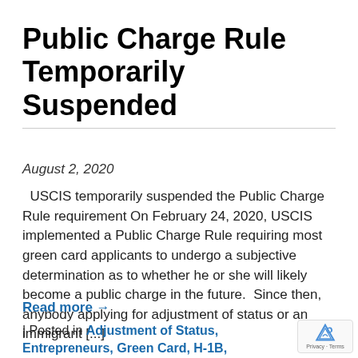Public Charge Rule Temporarily Suspended
August 2, 2020
USCIS temporarily suspended the Public Charge Rule requirement On February 24, 2020, USCIS implemented a Public Charge Rule requiring most green card applicants to undergo a subjective determination as to whether he or she will likely become a public charge in the future.  Since then, anybody applying for adjustment of status or an immigrant [...]
Read more →
| Posted in Adjustment of Status, Entrepreneurs, Green Card, H-1B, Investors, LGBT, O-1, Physical Therapist, 1, Silicon Beach, TN, U.S. Immigration, USCIS, Work